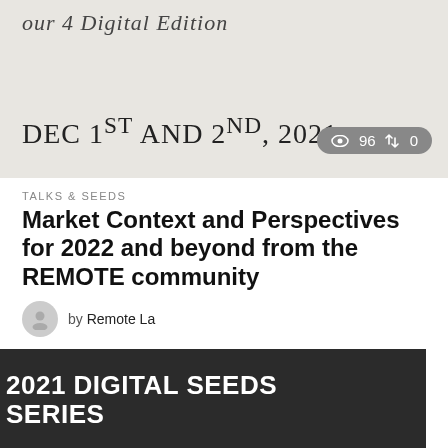[Figure (illustration): Banner image with light beige/gray background showing italic text 'our 4 Digital Edition' at top and bold text 'DEC 1ST AND 2ND, 2021' below, with a stats badge showing eye icon 96 and retweet icon 0]
TALKS & SEEDS
Market Context and Perspectives for 2022 and beyond from the REMOTE community
by Remote La
[Figure (illustration): Dark card with bold white text '2021 DIGITAL SEEDS SERIES' and gray text 'NEXT WEDNESDAY, APRIL 28TH AT 4PM UTC', with a black scroll-to-top button and stats badge showing 18 views and 0 retweets]